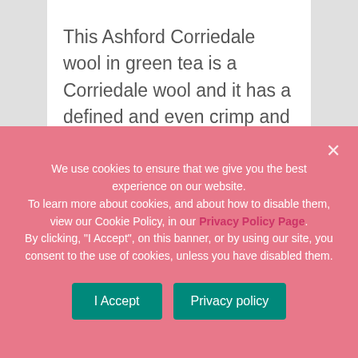This Ashford Corriedale wool in green tea is a Corriedale wool and it has a defined and even crimp and is smooth and easy to spin or felt. This felting…
We use cookies to ensure that we give you the best experience on our website. To learn more about cookies, and about how to disable them, view our Cookie Policy, in our Privacy Policy Page. By clicking, "I Accept", on this banner, or by using our site, you consent to the use of cookies, unless you have disabled them.